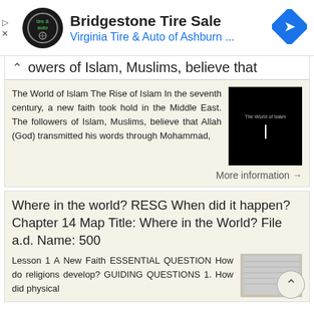[Figure (screenshot): Advertisement banner for Bridgestone Tire Sale at Virginia Tire & Auto of Ashburn. Shows circular logo on left, ad text in center, blue navigation arrow icon on right.]
owers of Islam, Muslims, believe that
The World of Islam The Rise of Islam In the seventh century, a new faith took hold in the Middle East. The followers of Islam, Muslims, believe that Allah (God) transmitted his words through Mohammad,
More information →
Where in the world? RESG When did it happen? Chapter 14 Map Title: Where in the World? File a.d. Name: 500
Lesson 1 A New Faith ESSENTIAL QUESTION How do religions develop? GUIDING QUESTIONS 1. How did physical